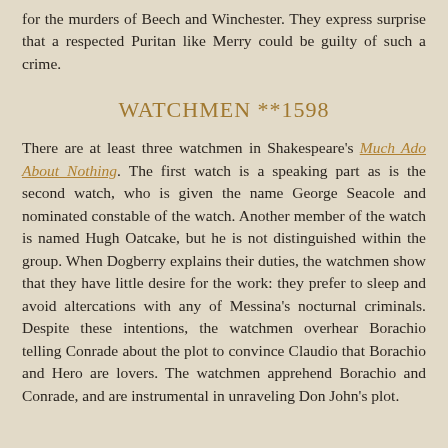for the murders of Beech and Winchester. They express surprise that a respected Puritan like Merry could be guilty of such a crime.
WATCHMEN **1598
There are at least three watchmen in Shakespeare's Much Ado About Nothing. The first watch is a speaking part as is the second watch, who is given the name George Seacole and nominated constable of the watch. Another member of the watch is named Hugh Oatcake, but he is not distinguished within the group. When Dogberry explains their duties, the watchmen show that they have little desire for the work: they prefer to sleep and avoid altercations with any of Messina's nocturnal criminals. Despite these intentions, the watchmen overhear Borachio telling Conrade about the plot to convince Claudio that Borachio and Hero are lovers. The watchmen apprehend Borachio and Conrade, and are instrumental in unraveling Don John's plot.